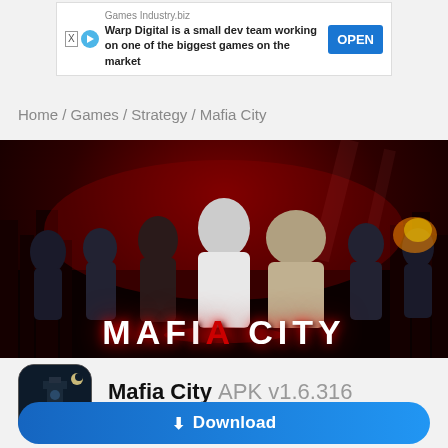[Figure (screenshot): Advertisement banner for GamesIndustry.biz: 'Warp Digital is a small dev team working on one of the biggest games on the market' with an OPEN button]
Home / Games / Strategy / Mafia City
[Figure (illustration): Mafia City game hero banner image showing mafia characters with guns against a dark red city background, with MAFIA CITY logo at bottom]
[Figure (screenshot): Mafia City app icon showing a suited man in front of Big Ben at night, with MAFIA CITY text at bottom]
Mafia City APK v1.6.316
Updated on August 23, 2022
Download